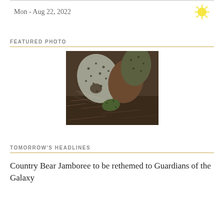Mon - Aug 22, 2022
FEATURED PHOTO
[Figure (photo): Close-up photograph of what appears to be a cactus or desert plant with dark spots on its pads, surrounded by dry ground/mulch material]
TOMORROW'S HEADLINES
Country Bear Jamboree to be rethemed to Guardians of the Galaxy